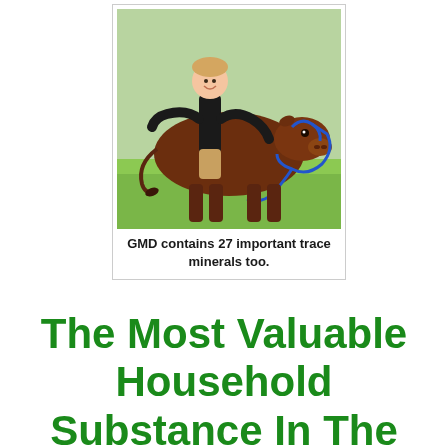[Figure (photo): A child hugging a large brown show cattle (steer) with a blue halter/lead rope, standing on grass. The child is wearing a black long-sleeve shirt and tan pants, leaning over the back of the animal.]
GMD contains 27 important trace minerals too.
The Most Valuable Household Substance In The